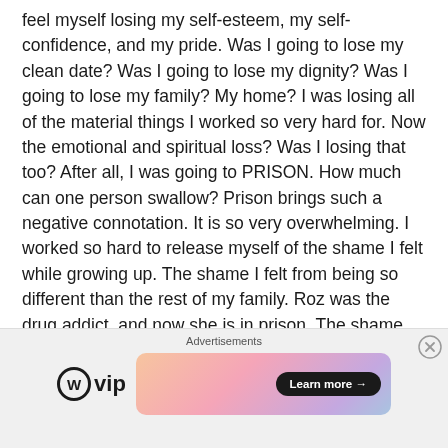feel myself losing my self-esteem, my self-confidence, and my pride. Was I going to lose my clean date? Was I going to lose my dignity? Was I going to lose my family? My home? I was losing all of the material things I worked so very hard for. Now the emotional and spiritual loss? Was I losing that too? After all, I was going to PRISON. How much can one person swallow? Prison brings such a negative connotation. It is so very overwhelming. I worked so hard to release myself of the shame I felt while growing up. The shame I felt from being so different than the rest of my family. Roz was the drug addict, and now she is in prison. The shame came back, and it came back strong.
[Figure (other): Advertisement bar with WordPress VIP logo and a colorful gradient banner with a 'Learn more →' button]